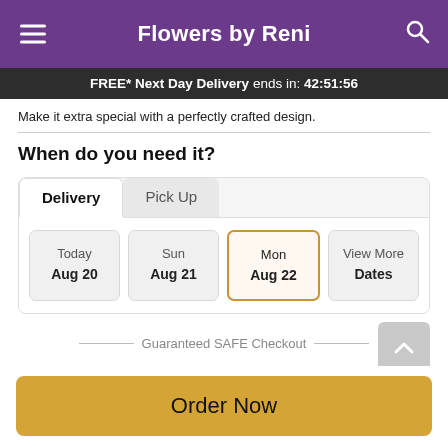Flowers by Reni
FREE* Next Day Delivery ends in: 42:51:56
Make it extra special with a perfectly crafted design.
When do you need it?
Delivery | Pick Up
Today Aug 20 | Sun Aug 21 | Mon Aug 22 | View More Dates
Guaranteed SAFE Checkout
Order Now